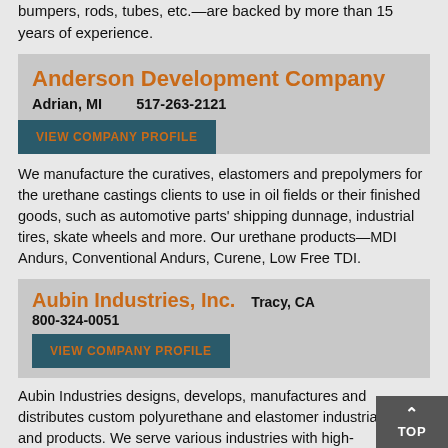bumpers, rods, tubes, etc.—are backed by more than 15 years of experience.
Anderson Development Company
Adrian, MI    517-263-2121
VIEW COMPANY PROFILE
We manufacture the curatives, elastomers and prepolymers for the urethane castings clients to use in oil fields or their finished goods, such as automotive parts' shipping dunnage, industrial tires, skate wheels and more. Our urethane products&mdash;MDI Andurs, Conventional Andurs, Curene, Low Free TDI.
Aubin Industries, Inc.    Tracy, CA    800-324-0051
VIEW COMPANY PROFILE
Aubin Industries designs, develops, manufactures and distributes custom polyurethane and elastomer industrial wheels and products. We serve various industries with high-